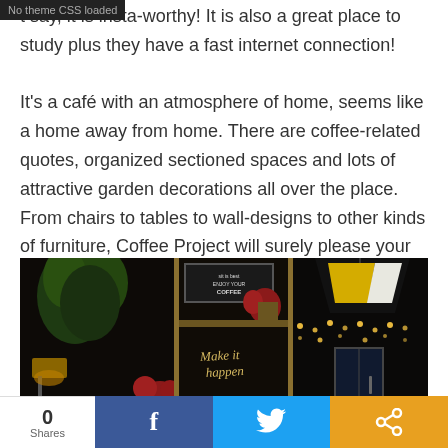No theme CSS loaded
t say, it is insta-worthy! It is also a great place to study plus they have a fast internet connection!
It's a café with an atmosphere of home, seems like a home away from home. There are coffee-related quotes, organized sectioned spaces and lots of attractive garden decorations all over the place. From chairs to tables to wall-designs to other kinds of furniture, Coffee Project will surely please your eyes.
[Figure (photo): Interior of Coffee Project cafe showing plants, chalkboard sign, decorative items, yellow-black pendant lamp, fairy lights, and glass doors in a dark atmospheric setting. Script text reads 'Make it happen'. Bottom partial text shows 'GOC'.]
0 Shares  [Facebook share button]  [Twitter share button]  [Share button]